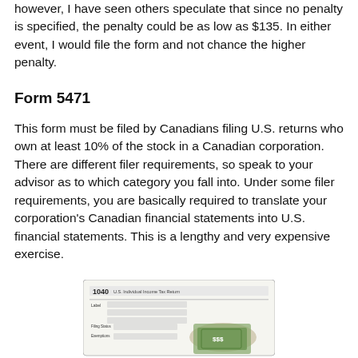however, I have seen others speculate that since no penalty is specified, the penalty could be as low as $135. In either event, I would file the form and not chance the higher penalty.
Form 5471
This form must be filed by Canadians filing U.S. returns who own at least 10% of the stock in a Canadian corporation. There are different filer requirements, so speak to your advisor as to which category you fall into. Under some filer requirements, you are basically required to translate your corporation’s Canadian financial statements into U.S. financial statements. This is a lengthy and very expensive exercise.
[Figure (photo): Image of a U.S. 1040 Individual Income Tax Return form with cash dollar bills fanned out on top of it.]